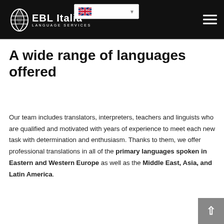EBL Italia LANGUAGE SERVICES
A wide range of languages offered
Our team includes translators, interpreters, teachers and linguists who are qualified and motivated with years of experience to meet each new task with determination and enthusiasm. Thanks to them, we offer professional translations in all of the primary languages spoken in Eastern and Western Europe as well as the Middle East, Asia, and Latin America.